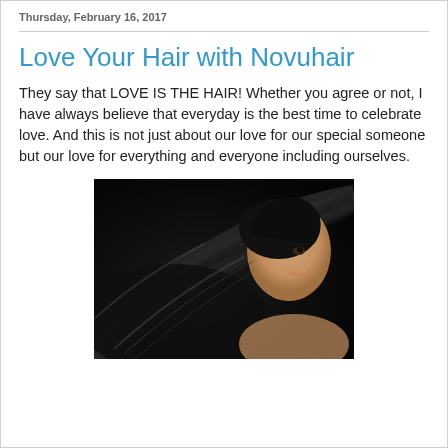Thursday, February 16, 2017
Love Your Hair with Novuhair
They say that LOVE IS THE HAIR! Whether you agree or not, I have always believe that everyday is the best time to celebrate love. And this is not just about our love for our special someone but our love for everything and everyone including ourselves.
[Figure (photo): A woman with long, flowing dark black hair spread out dramatically, smiling, photographed against a dark background]